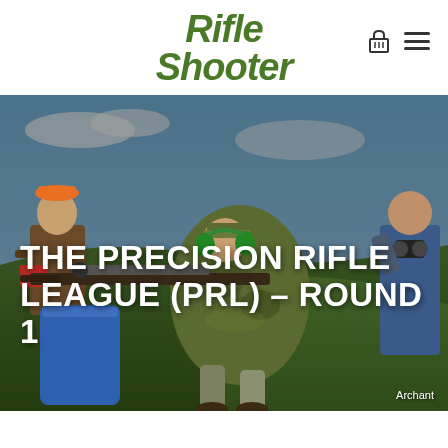[Figure (logo): Rifle Shooter magazine logo in bold italic green text]
[Figure (photo): Outdoor shooting range scene with a person in camouflage gear aiming a scoped rifle resting on a blue barrel, another person in orange hat observing on the left, and a third person with binoculars on the right, set against a blue sky and green hillside. Text overlay reads 'THE PRECISION RIFLE LEAGUE (PRL) - ROUND 1'. Photo credit: Archant.]